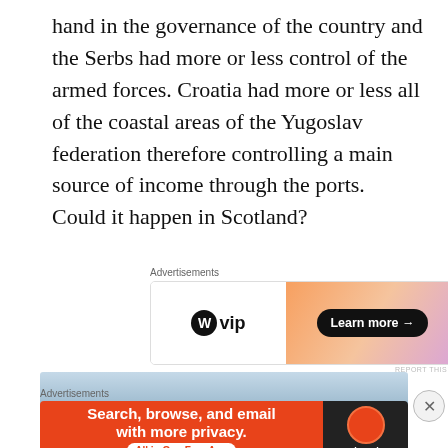hand in the governance of the country and the Serbs had more or less control of the armed forces. Croatia had more or less all of the coastal areas of the Yugoslav federation therefore controlling a main source of income through the ports. Could it happen in Scotland?
[Figure (screenshot): WordPress VIP advertisement banner with orange gradient background and 'Learn more →' button]
[Figure (photo): Partial photo of a cityscape with a dome structure against a blue sky]
[Figure (screenshot): DuckDuckGo advertisement: 'Search, browse, and email with more privacy. All in One Free App' with DuckDuckGo logo on dark background]